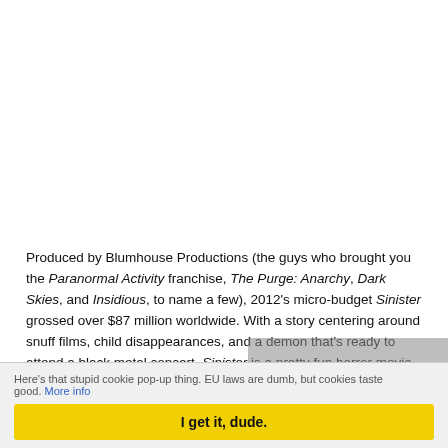Produced by Blumhouse Productions (the guys who brought you the Paranormal Activity franchise, The Purge: Anarchy, Dark Skies, and Insidious, to name a few), 2012's micro-budget Sinister grossed over $87 million worldwide. With a story centering around snuff films, child disappearances, and a demon that's ready to attend a black metal concert, Sinister is a pretty fun horror movie with a genuinely disturbing soundtrack.
Sequel, anyone?
Here's that stupid cookie pop-up thing. EU laws are dumb, but cookies taste good. More info
I get it, dude.